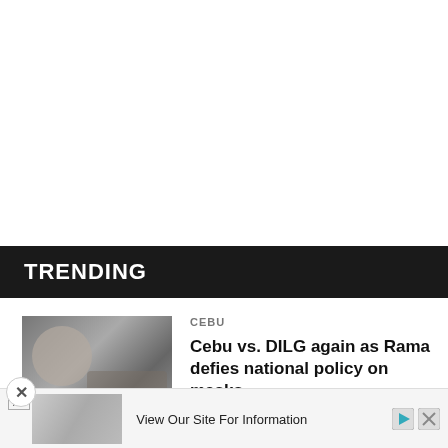TRENDING
CEBU
Cebu vs. DILG again as Rama defies national policy on masks
[Figure (photo): Blurry thumbnail photo related to the Cebu vs DILG story]
[Figure (photo): Advertisement banner showing a mechanical chain product with text: View Our Site For Information]